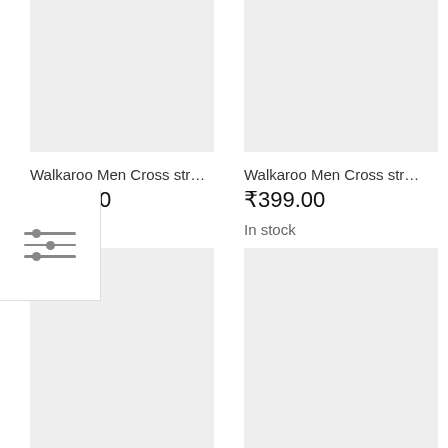[Figure (screenshot): Product listing page showing Walkaroo Men Cross strap sandals with placeholder product images, prices, and stock status. A filter icon overlay is visible on the left side.]
Walkaroo Men Cross str...
₹389.00
In stock
Walkaroo Men Cross str...
₹399.00
In stock